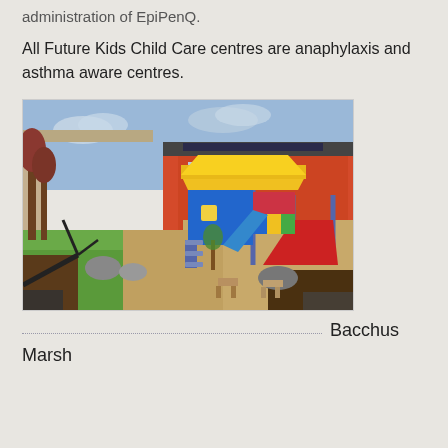administration of EpiPenQ.
All Future Kids Child Care centres are anaphylaxis and asthma aware centres.
[Figure (photo): Outdoor playground area at a child care centre showing colourful climbing equipment with yellow roof, blue and red panels, slides, green artificial grass, sand/gravel surfacing, garden beds, rocks, and building with solar panels in the background.]
Bacchus Marsh